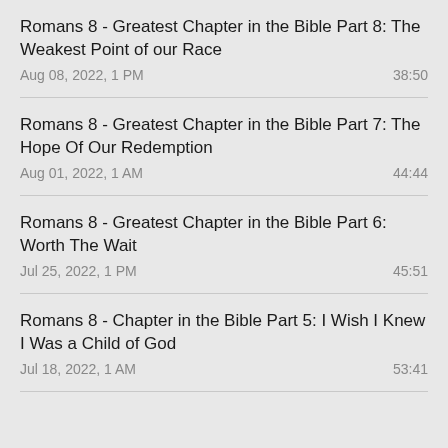Romans 8 - Greatest Chapter in the Bible Part 8: The Weakest Point of our Race
Aug 08, 2022, 1 PM	38:50
Romans 8 - Greatest Chapter in the Bible Part 7: The Hope Of Our Redemption
Aug 01, 2022, 1 AM	44:44
Romans 8 - Greatest Chapter in the Bible Part 6: Worth The Wait
Jul 25, 2022, 1 PM	45:51
Romans 8 - Chapter in the Bible Part 5: I Wish I Knew I Was a Child of God
Jul 18, 2022, 1 AM	53:41